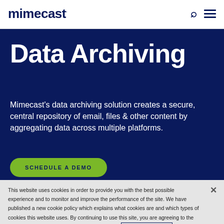mimecast
Data Archiving
Mimecast's data archiving solution creates a secure, central repository of email, files & other content by aggregating data across multiple platforms.
SCHEDULE A DEMO
This website uses cookies in order to provide you with the best possible experience and to monitor and improve the performance of the site. We have published a new cookie policy which explains what cookies are and which types of cookies this website uses. By continuing to use this site, you are agreeing to the use of cookies, unless you have disabled them. Privacy Statement